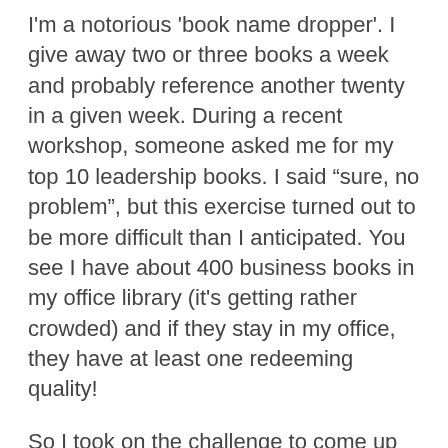I'm a notorious 'book name dropper'. I give away two or three books a week and probably reference another twenty in a given week. During a recent workshop, someone asked me for my top 10 leadership books. I said “sure, no problem”, but this exercise turned out to be more difficult than I anticipated. You see I have about 400 business books in my office library (it's getting rather crowded) and if they stay in my office, they have at least one redeeming quality!
So I took on the challenge to come up with 10 Leadership Books that influenced me. Ten books that challenged my leadership thinking and convinced me to do something new or different … to change. This is the list I would suggest to those interested in furthering their leadership development. Whether you are a CEO or a wet behind the ears project leader, this is still a great place to start. Of course books can